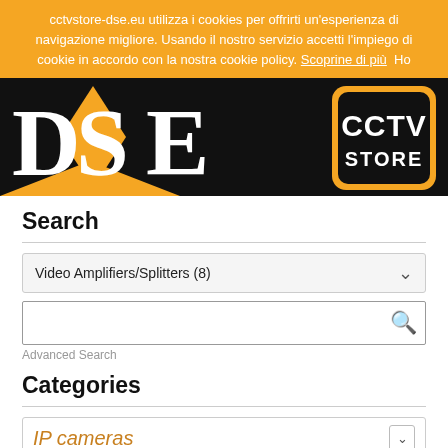cctvstore-dse.eu utilizza i cookies per offrirti un'esperienza di navigazione migliore. Usando il nostro servizio accetti l'impiego di cookie in accordo con la nostra cookie policy. Scoprine di più  Ho
[Figure (logo): DSE and CCTV Store logos on black background header bar]
Search
Video Amplifiers/Splitters (8)
Advanced Search
Categories
IP cameras